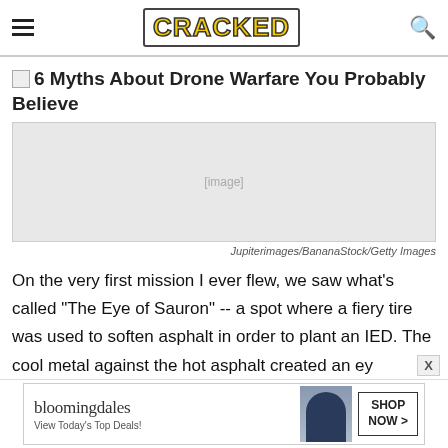CRACKED
6 Myths About Drone Warfare You Probably Believe
[Figure (photo): Broken/missing image placeholder for article header image]
Jupiterimages/BananaStock/Getty Images
On the very first mission I ever flew, we saw what's called "The Eye of Sauron" -- a spot where a fiery tire was used to soften asphalt in order to plant an IED. The cool metal against the hot asphalt created an ey
[Figure (screenshot): Bloomingdale's advertisement: bloomingdales, View Today's Top Deals!, SHOP NOW >]